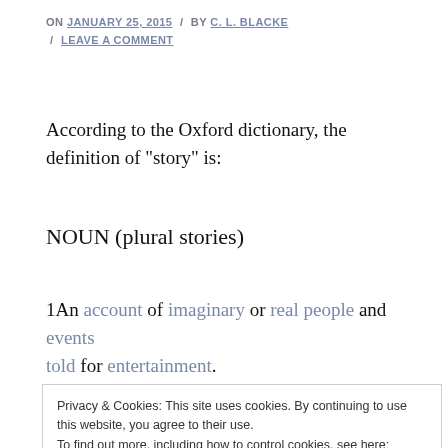ON JANUARY 25, 2015 / BY C. L. BLACKE / LEAVE A COMMENT
According to the Oxford dictionary, the definition of “story” is:
NOUN (plural stories)
1An account of imaginary or real people and events told for entertainment.
Notice how the first element in this definition is
Privacy & Cookies: This site uses cookies. By continuing to use this website, you agree to their use.
To find out more, including how to control cookies, see here: Cookie Policy
Sounds like bad news for those of us who come up